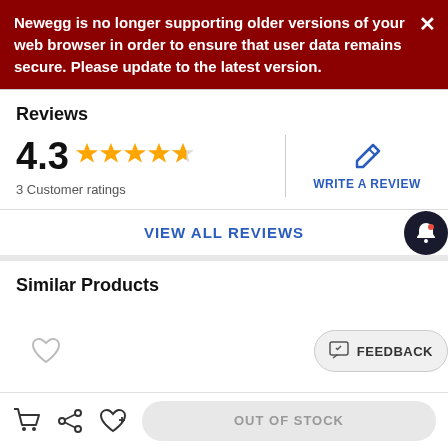Newegg is no longer supporting older versions of your web browser in order to ensure that user data remains secure. Please update to the latest version.
Reviews
4.3 — 3 Customer ratings
WRITE A REVIEW
VIEW ALL REVIEWS
Similar Products
FEEDBACK
OUT OF STOCK